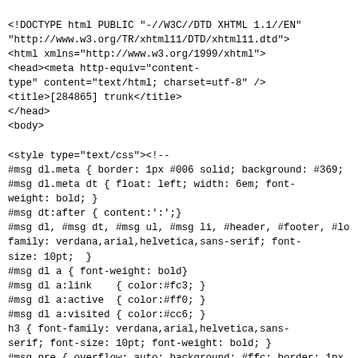<!DOCTYPE html PUBLIC "-//W3C//DTD XHTML 1.1//EN"
"http://www.w3.org/TR/xhtml11/DTD/xhtml11.dtd">
<html xmlns="http://www.w3.org/1999/xhtml">
<head><meta http-equiv="content-type" content="text/html; charset=utf-8" />
<title>[284865] trunk</title>
</head>
<body>

<style type="text/css"><!--
#msg dl.meta { border: 1px #006 solid; background: #369;
#msg dl.meta dt { float: left; width: 6em; font-weight: bold; }
#msg dt:after { content:':';}
#msg dl, #msg dt, #msg ul, #msg li, #header, #footer, #lo family: verdana,arial,helvetica,sans-serif; font-size: 10pt;  }
#msg dl a { font-weight: bold}
#msg dl a:link    { color:#fc3; }
#msg dl a:active  { color:#ff0; }
#msg dl a:visited { color:#cc6; }
h3 { font-family: verdana,arial,helvetica,sans-serif; font-size: 10pt; font-weight: bold; }
#msg pre { overflow: auto; background: #ffc; border: 1px
#logmsg { background: #ffc; border: 1px #fa0 solid; paddi
#logmsg p, #logmsg pre, #logmsg blockquote { margin: 0 0
#logmsg p, #logmsg li, #logmsg dt, #logmsg dd { line-height: 14pt; }
#logmsg h1, #logmsg h2, #logmsg h3, #logmsg h4, #logmsg h
#logmsg h1:first-child, #logmsg h2:first-